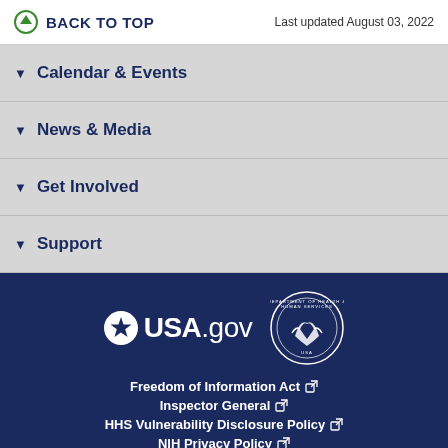BACK TO TOP   Last updated August 03, 2022
Calendar & Events
News & Media
Get Involved
Support
[Figure (logo): USA.gov logo with star icon and HHS Department of Health and Human Services seal]
Freedom of Information Act
Inspector General
HHS Vulnerability Disclosure Policy
NIH Privacy Policy